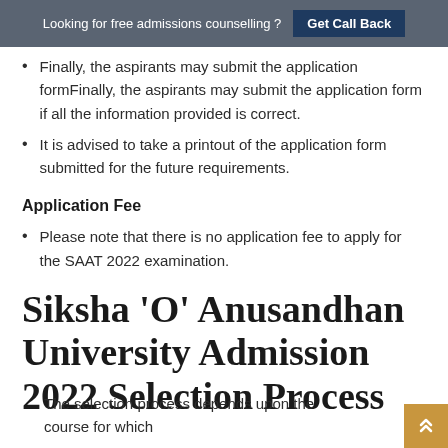Looking for free admissions counselling ? Get Call Back
Finally, the aspirants may submit the application form if all the information provided is correct.
It is advised to take a printout of the application form submitted for the future requirements.
Application Fee
Please note that there is no application fee to apply for the SAAT 2022 examination.
Siksha 'O' Anusandhan University Admission 2022 Selection Process
The selection process depends upon the course for which